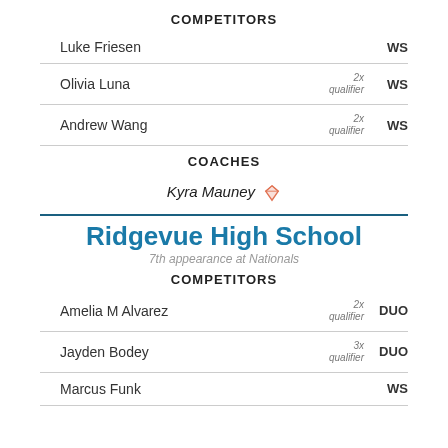COMPETITORS
Luke Friesen — WS
Olivia Luna — 2x qualifier — WS
Andrew Wang — 2x qualifier — WS
COACHES
Kyra Mauney [diamond icon]
Ridgevue High School
7th appearance at Nationals
COMPETITORS
Amelia M Alvarez — 2x qualifier — DUO
Jayden Bodey — 3x qualifier — DUO
Marcus Funk — WS